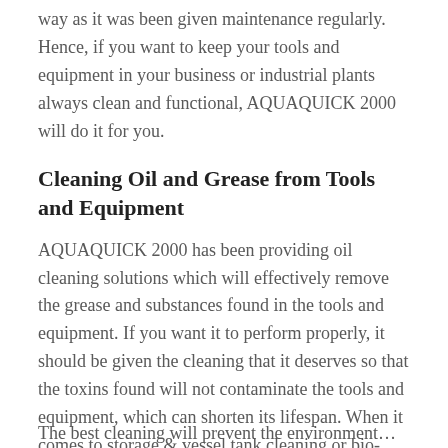way as it was been given maintenance regularly. Hence, if you want to keep your tools and equipment in your business or industrial plants always clean and functional, AQUAQUICK 2000 will do it for you.
Cleaning Oil and Grease from Tools and Equipment
AQUAQUICK 2000 has been providing oil cleaning solutions which will effectively remove the grease and substances found in the tools and equipment. If you want it to perform properly, it should be given the cleaning that it deserves so that the toxins found will not contaminate the tools and equipment, which can shorten its lifespan. When it comes to storage & vessel tank cleaning or bio-pond & pit cleaning, the AQUAQUICK 2000 is the best option.
The best cleaning will prevent the environment...